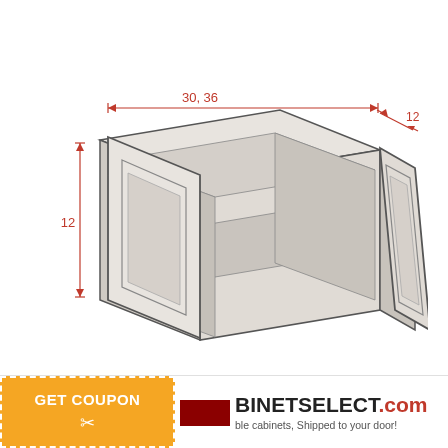[Figure (engineering-diagram): Isometric engineering diagram of a wall cabinet with two glass-panel doors (one open, one closed). Red dimension lines show width of 30, 36 inches, depth of 12 inches, and height of 12 inches.]
[Figure (logo): CabinetSelect.com logo with orange GET COUPON button with scissors icon. Tagline: affordable cabinets, Shipped to your door!]